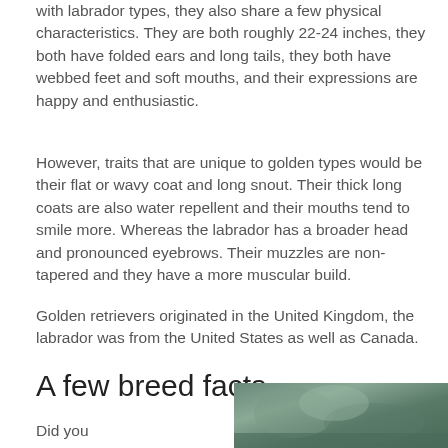with labrador types, they also share a few physical characteristics. They are both roughly 22-24 inches, they both have folded ears and long tails, they both have webbed feet and soft mouths, and their expressions are happy and enthusiastic.
However, traits that are unique to golden types would be their flat or wavy coat and long snout. Their thick long coats are also water repellent and their mouths tend to smile more. Whereas the labrador has a broader head and pronounced eyebrows. Their muzzles are non-tapered and they have a more muscular build.
Golden retrievers originated in the United Kingdom, the labrador was from the United States as well as Canada.
A few breed facts
Did you